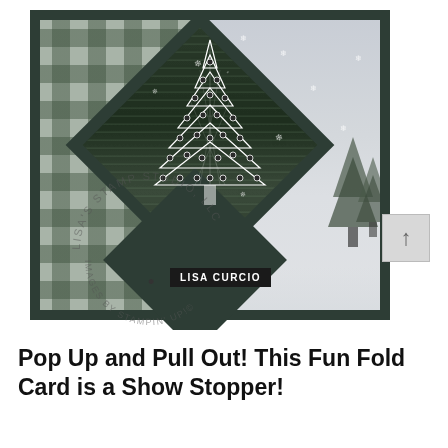[Figure (photo): A handmade Christmas card featuring a pop-up/pull-out fun fold design. The card has a buffalo plaid background on the left side and a winter snowy scene on the right. A dark green diamond-shaped rotated square overlays the center with a detailed white sketched Christmas tree adorned with ornament dots. The card uses dark forest green and gray tones throughout. A circular watermark reads 'LISA'S STAMP STUDIO LLC' and 'IMAGES BY STAMPIN' UP!©'. A bullet point and dark label reading 'LISA CURCIO' appears over the card image.]
Pop Up and Pull Out! This Fun Fold Card is a Show Stopper!